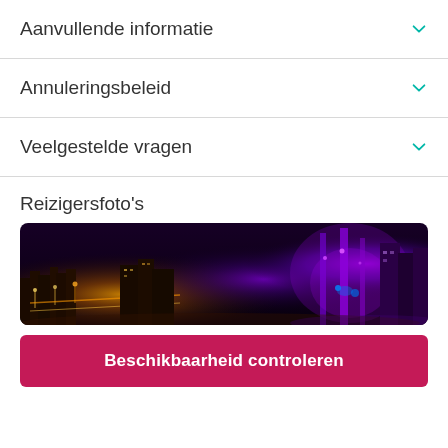Aanvullende informatie
Annuleringsbeleid
Veelgestelde vragen
Reizigersfoto's
[Figure (photo): Night cityscape aerial photo showing city lights, streets illuminated at night with purple/blue lighting on the right side suggesting a large structure or attraction]
Beschikbaarheid controleren